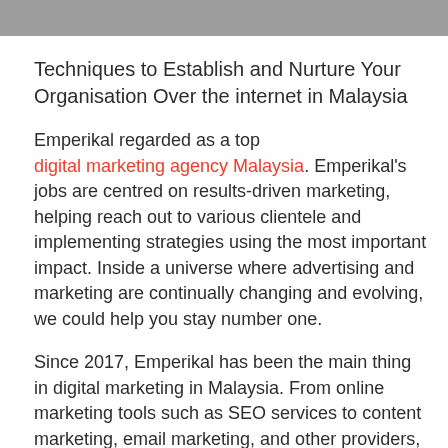Techniques to Establish and Nurture Your Organisation Over the internet in Malaysia
Emperikal regarded as a top digital marketing agency Malaysia. Emperikal’s jobs are centred on results-driven marketing, helping reach out to various clientele and implementing strategies using the most important impact. Inside a universe where advertising and marketing are continually changing and evolving, we could help you stay number one.
Since 2017, Emperikal has been the main thing in digital marketing in Malaysia. From online marketing tools such as SEO services to content marketing, email marketing, and other providers, Emperikal’s main aim would be to allow you to fulfil all of your online marketing needs, and grow your potential audience to the full prospective.